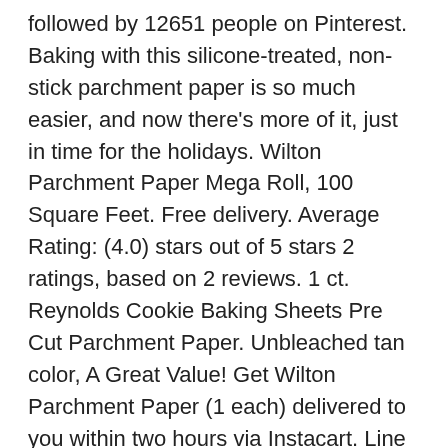followed by 12651 people on Pinterest. Baking with this silicone-treated, non-stick parchment paper is so much easier, and now there's more of it, just in time for the holidays. Wilton Parchment Paper Mega Roll, 100 Square Feet. Free delivery. Average Rating: (4.0) stars out of 5 stars 2 ratings, based on 2 reviews. 1 ct. Reynolds Cookie Baking Sheets Pre Cut Parchment Paper. Unbleached tan color, A Great Value! Get Wilton Parchment Paper (1 each) delivered to you within two hours via Instacart. Line baking pans and cookie sheets with silicone-treated non-stick parchment for great results. Oven cooking or microwave steaming for chicken, seafood or vegetables. Product features. Bee's Wrap 7pk Reusable Beeswax Food Wrap Sustainable Plastic Free Variety Pack . Food releases easily with no added grease. Kitchens Parchment Paper (12 inch, Non-Stick, 60 Square Foot Roll) by Reynolds Foods